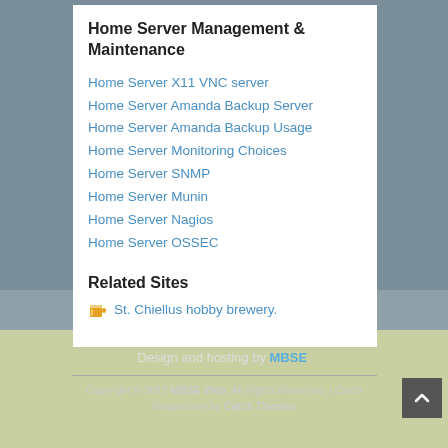Home Server Management & Maintenance
Home Server X11 VNC server
Home Server Amanda Backup Server
Home Server Amanda Backup Usage
Home Server Monitoring Choices
Home Server SNMP
Home Server Munin
Home Server Nagios
Home Server OSSEC
Related Sites
St. Chiellus hobby brewery.
Design and hosting by MBSE.
Copyright © 2012 MBSE Web. All Rights Reserved. | Catch Responsive by Catch Themes